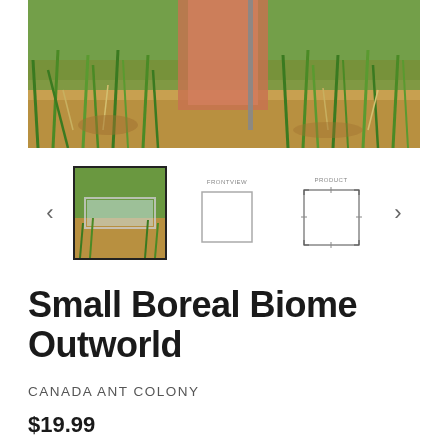[Figure (photo): Close-up outdoor photo showing grass, soil, and brick/stone elements on the ground, main product hero image for Small Boreal Biome Outworld]
[Figure (photo): Thumbnail carousel with three images: selected photo of the ant outworld product on grass, a plain front-view diagram, and a diagram with dimension markers]
Small Boreal Biome Outworld
CANADA ANT COLONY
$19.99